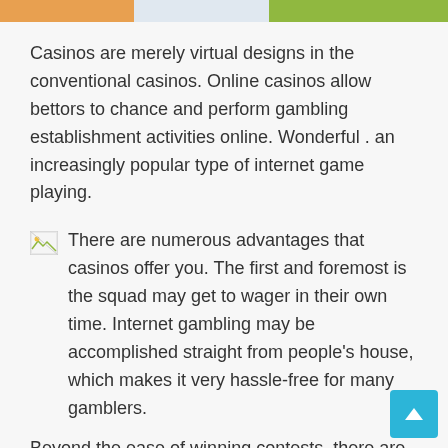[Figure (illustration): Top banner with three colored image panels: orange/warm on left, light blue/white in center, green on right]
Casinos are merely virtual designs in the conventional casinos. Online casinos allow bettors to chance and perform gambling establishment activities online. Wonderful . an increasingly popular type of internet game playing.
There are numerous advantages that casinos offer you. The first and foremost is the squad may get to wager in their own time. Internet gambling may be accomplished straight from people's house, which makes it very hassle-free for many gamblers.
Beyond the ease of winning contests, there are several reasons to like playing online including